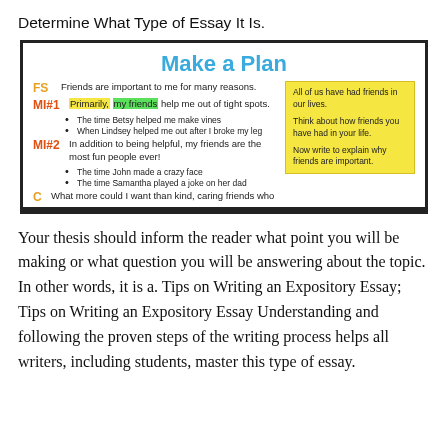Determine What Type of Essay It Is.
[Figure (infographic): A 'Make a Plan' graphic showing an essay outline with labels FS, MI#1, MI#2, C and bullet points, alongside a yellow sticky note with writing prompts about friends.]
Your thesis should inform the reader what point you will be making or what question you will be answering about the topic. In other words, it is a. Tips on Writing an Expository Essay; Tips on Writing an Expository Essay Understanding and following the proven steps of the writing process helps all writers, including students, master this type of essay.